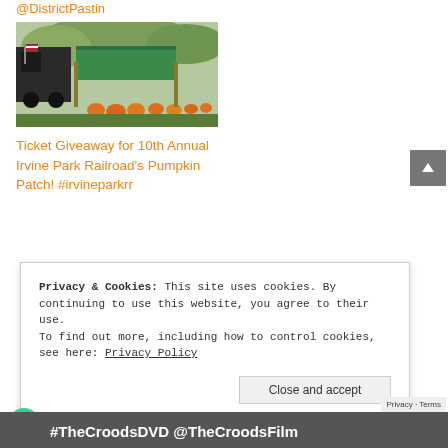@DistrictPastin #luckymother
[Figure (photo): Photo of a pumpkin patch scene with a train ride, decorations including dried corn stalks, orange pumpkins lining the ground, and a green tent/awning visible in the background.]
Ticket Giveaway for 10th Annual Irvine Park Railroad's Pumpkin Patch! #irvineparkrr
Privacy & Cookies: This site uses cookies. By continuing to use this website, you agree to their use.
To find out more, including how to control cookies, see here: Privacy Policy
Close and accept
#TheCroodsDVD @TheCroodsFilm